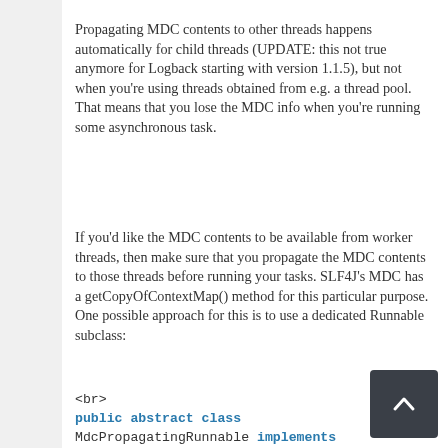Propagating MDC contents to other threads happens automatically for child threads (UPDATE: this not true anymore for Logback starting with version 1.1.5), but not when you're using threads obtained from e.g. a thread pool. That means that you lose the MDC info when you're running some asynchronous task.
If you'd like the MDC contents to be available from worker threads, then make sure that you propagate the MDC contents to those threads before running your tasks. SLF4J's MDC has a getCopyOfContextMap() method for this particular purpose. One possible approach for this is to use a dedicated Runnable subclass:
<br>
public abstract class MdcPropagatingRunnable implements
Runnable {</p>